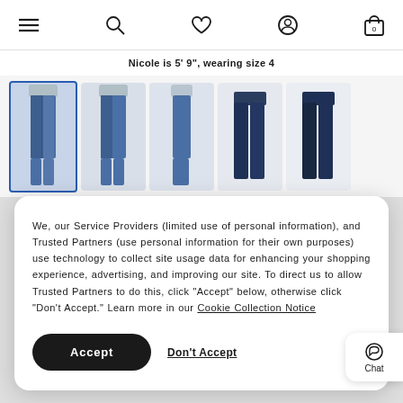Navigation bar with hamburger menu, search, wishlist, account, and cart (0) icons
Nicole is 5' 9", wearing size 4
[Figure (photo): Five thumbnail images of jeans product: front view on model, back view on model, side view on model, flat lay front, flat lay back. First thumbnail is selected with blue underline.]
We, our Service Providers (limited use of personal information), and Trusted Partners (use personal information for their own purposes) use technology to collect site usage data for enhancing your shopping experience, advertising, and improving our site. To direct us to allow Trusted Partners to do this, click “Accept” below, otherwise click “Don’t Accept.” Learn more in our Cookie Collection Notice
Accept
Don't Accept